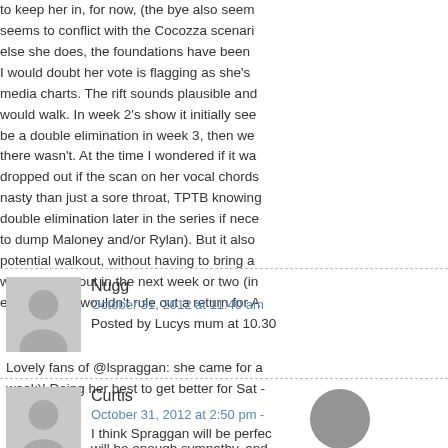to keep her in, for now, (the bye also seems to conflict with the Cocozza scenario) else she does, the foundations have been I would doubt her vote is flagging as she's media charts. The rift sounds plausible and would walk. In week 2's show it initially see be a double elimination in week 3, then we there wasn't. At the time I wondered if it wa dropped out if the scan on her vocal chords nasty than just a sore throat, TPTB knowing double elimination later in the series if nece to dump Maloney and/or Rylan). But it also potential walkout, without having to bring a were to drop out in the next week or two (in elimination) I wouldn't rule out a return for A
Nugg
October 31, 2012 at 11:40 am
Posted by Lucys mum at 10.30
Lovely fans of @lspraggan: she came for a week)! Doing her best to get better for Sat -
Curtis
October 31, 2012 at 2:50 pm -
I think Spraggan will be perfec will be enough sympathy, and